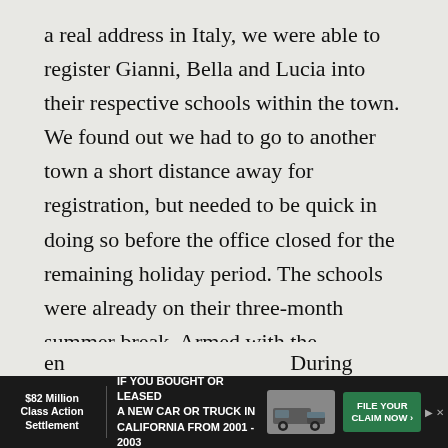a real address in Italy, we were able to register Gianni, Bella and Lucia into their respective schools within the town. We found out we had to go to another town a short distance away for registration, but needed to be quick in doing so before the office closed for the remaining holiday period. The schools were already on their three-month summer break. Armed with the translated school reports, medical records showing vaccinations received, birth certificates and anything else we thought were relevant, we entered an office within a large building and were welcomed in. The procedure was simple enough although it was difficult understanding most of what was discussed, but we got the drift. It was done, and another 'priority' marked off our list. September, Gianni would start the first year (prima) of scuola media and the girls would en... During th... with the
[Figure (other): Advertisement banner: '$82 Million Class Action Settlement — IF YOU BOUGHT OR LEASED A NEW CAR OR TRUCK IN CALIFORNIA FROM 2001 - 2003 — FILE YOUR CLAIM NOW' with a truck image and green call-to-action button.]